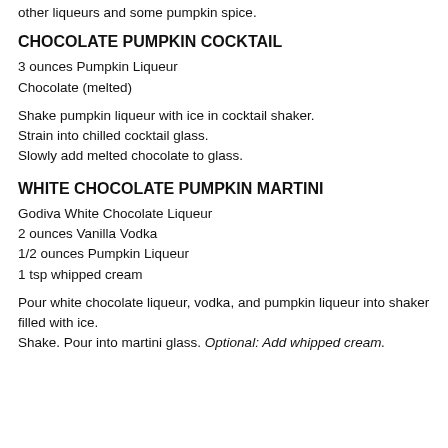other liqueurs and some pumpkin spice.
CHOCOLATE PUMPKIN COCKTAIL
3 ounces Pumpkin Liqueur
Chocolate (melted)
Shake pumpkin liqueur with ice in cocktail shaker.
Strain into chilled cocktail glass.
Slowly add melted chocolate to glass.
WHITE CHOCOLATE PUMPKIN MARTINI
Godiva White Chocolate Liqueur
2 ounces Vanilla Vodka
1/2 ounces Pumpkin Liqueur
1 tsp whipped cream
Pour white chocolate liqueur, vodka, and pumpkin liqueur into shaker filled with ice.
Shake. Pour into martini glass. Optional: Add whipped cream.